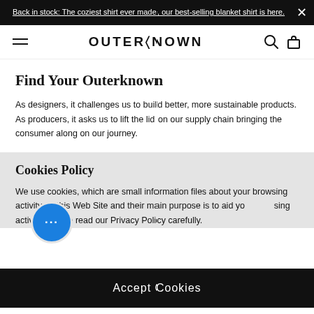Back in stock: The coziest shirt ever made, our best-selling blanket shirt is here.
[Figure (logo): Outerknown brand logo and navigation bar with hamburger menu, search and bag icons]
Find Your Outerknown
As designers, it challenges us to build better, more sustainable products. As producers, it asks us to lift the lid on our supply chain bringing the consumer along on our journey.
Cookies Policy
We use cookies, which are small information files about your browsing activity on this Web Site and their main purpose is to aid your browsing activity. Please read our Privacy Policy carefully.
Accept Cookies